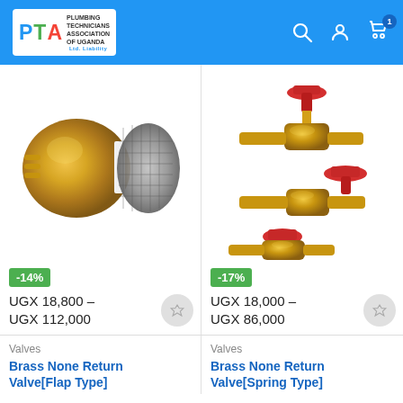Plumbing Technicians Association of Uganda - Header with logo and navigation icons
[Figure (photo): Brass foot valve / non-return valve with mesh strainer filter, gold/brass colored]
-14%
UGX 18,800 – UGX 112,000
[Figure (photo): Brass gate valves with red handwheels, multiple sizes shown together]
-17%
UGX 18,000 – UGX 86,000
Valves
Valves
Brass None Return Valve[Flap Type]
Brass None Return Valve[Spring Type]